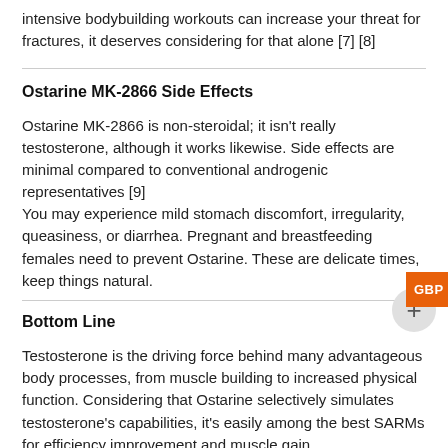intensive bodybuilding workouts can increase your threat for fractures, it deserves considering for that alone [7] [8]
Ostarine MK-2866 Side Effects
Ostarine MK-2866 is non-steroidal; it isn't really testosterone, although it works likewise. Side effects are minimal compared to conventional androgenic representatives [9]
You may experience mild stomach discomfort, irregularity, queasiness, or diarrhea. Pregnant and breastfeeding females need to prevent Ostarine. These are delicate times, keep things natural.
Bottom Line
Testosterone is the driving force behind many advantageous body processes, from muscle building to increased physical function. Considering that Ostarine selectively simulates testosterone's capabilities, it's easily among the best SARMs for efficiency improvement and muscle gain.
2. Testolone RAD-140– Finest for Bulking Up